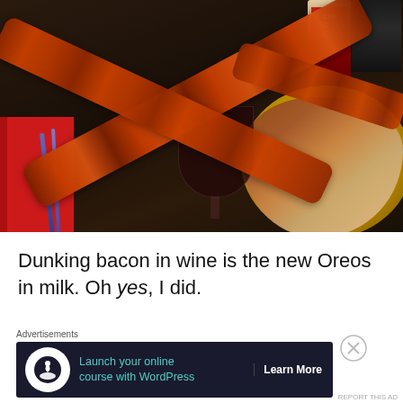[Figure (photo): Overhead photo of bacon strips crossed diagonally over a dark table, with a wine glass in the background, a yellow plate with food on the right, a red notebook and pen on the left, and condiment bottles in the upper right.]
Dunking bacon in wine is the new Oreos in milk. Oh yes, I did.
Advertisements
[Figure (other): Advertisement banner: Launch your online course with WordPress - Learn More button, with tree/person icon on dark background.]